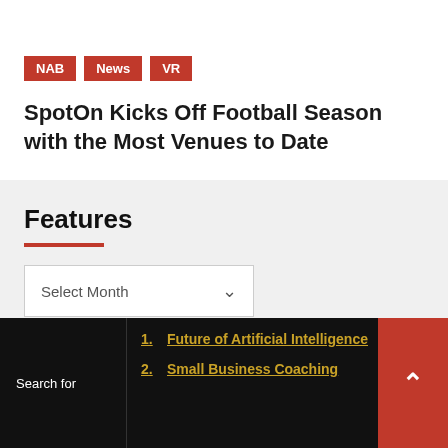NAB
News
VR
SpotOn Kicks Off Football Season with the Most Venues to Date
Features
Select Month
Partner Sites
Search for
1. Future of Artificial Intelligence
2. Small Business Coaching